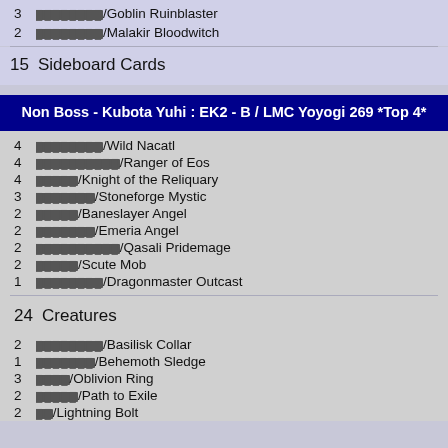3 ████████/Goblin Ruinblaster
2 ████████/Malakir Bloodwitch
15  Sideboard Cards
Non Boss - Kubota Yuhi : EK2 - B / LMC Yoyogi 269 *Top 4*
4 ████████/Wild Nacatl
4 ██████████/Ranger of Eos
4 █████/Knight of the Reliquary
3 ███████/Stoneforge Mystic
2 █████/Baneslayer Angel
2 ███████/Emeria Angel
2 ██████████/Qasali Pridemage
2 █████/Scute Mob
1 ████████/Dragonmaster Outcast
24  Creatures
2 ████████/Basilisk Collar
1 ███████/Behemoth Sledge
3 ████/Oblivion Ring
2 █████/Path to Exile
2 ██/Lightning Bolt